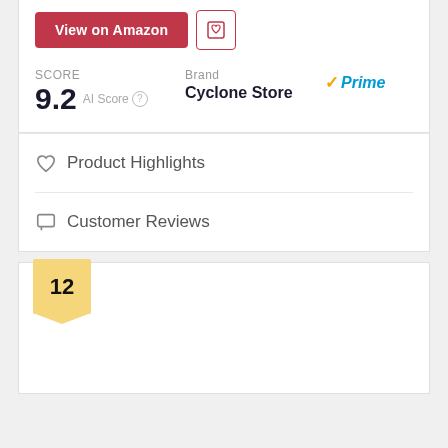View on Amazon
SCORE
9.2 AI Score
Brand
Cyclone Store
Prime
Product Highlights
Customer Reviews
12